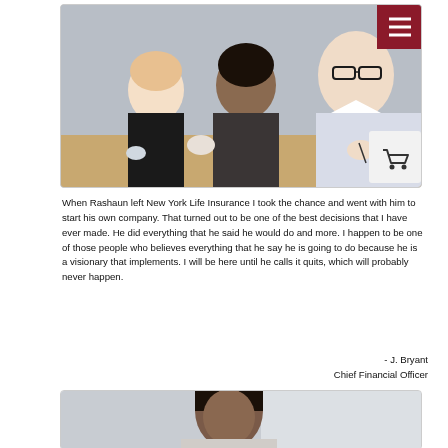[Figure (photo): Business meeting photo showing three professionals seated at a conference table, one man in glasses and white shirt in foreground writing notes, with a hamburger menu button overlay in top right corner and a shopping cart icon overlay in bottom right]
When Rashaun left New York Life Insurance I took the chance and went with him to start his own company. That turned out to be one of the best decisions that I have ever made. He did everything that he said he would do and more. I happen to be one of those people who believes everything that he say he is going to do because he is a visionary that implements. I will be here until he calls it quits, which will probably never happen.
- J. Bryant
Chief Financial Officer
[Figure (photo): Partial photo showing a woman with dark hair in professional setting]